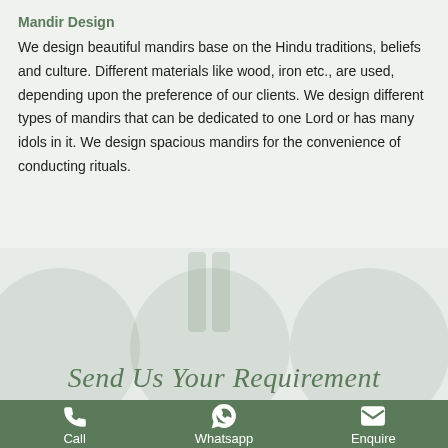Mandir Design
We design beautiful mandirs base on the Hindu traditions, beliefs and culture. Different materials like wood, iron etc., are used, depending upon the preference of our clients. We design different types of mandirs that can be dedicated to one Lord or has many idols in it. We design spacious mandirs for the convenience of conducting rituals.
Send Us Your Requirement
Call   Whatsapp   Enquire